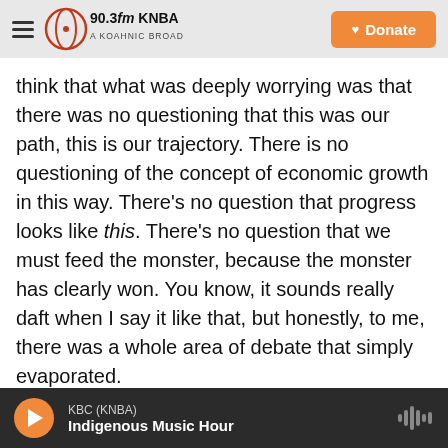90.3fm KNBA — A Koahnic Broadcast Station | Donate
think that what was deeply worrying was that there was no questioning that this was our path, this is our trajectory. There is no questioning of the concept of economic growth in this way. There's no question that progress looks like this. There's no question that we must feed the monster, because the monster has clearly won. You know, it sounds really daft when I say it like that, but honestly, to me, there was a whole area of debate that simply evaporated.
Donwood: I think that's still the case. There's a lot of talk about trying to be more ecologically
KBC (KNBA) — Indigenous Music Hour